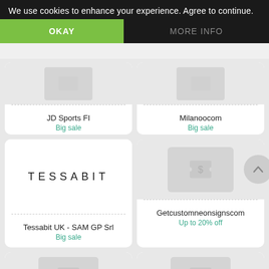We use cookies to enhance your experience. Agree to continue.
OKAY
MORE INFO
JD Sports FI
Big sale
Milanoocom
Big sale
Tessabit UK - SAM GP Srl
Big sale
Getcustomneonsignscom
Up to 20% off